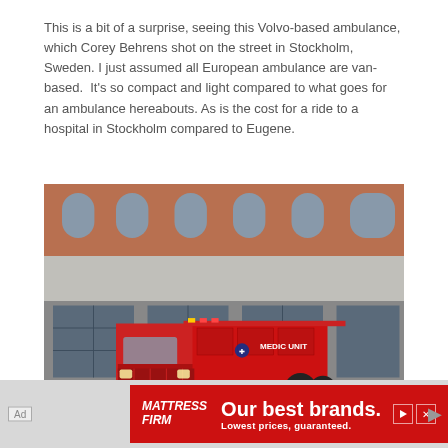This is a bit of a surprise, seeing this Volvo-based ambulance, which Corey Behrens shot on the street in Stockholm, Sweden. I just assumed all European ambulance are van-based.  It's so compact and light compared to what goes for an ambulance hereabouts. As is the cost for a ride to a hospital in Stockholm compared to Eugene.
[Figure (photo): A red fire department medic unit truck (ambulance) parked in front of a red brick building with arched windows. The truck has 'MEDIC UNIT' written on the side and is on a street.]
[Figure (other): Advertisement banner: Mattress Firm - 'Our best brands. Lowest prices, guaranteed.']